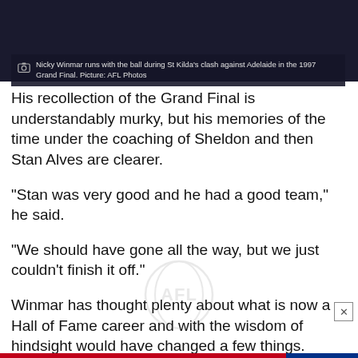[Figure (screenshot): Dark background image block showing a sports scene at the top of the page]
Nicky Winmar runs with the ball during St Kilda's clash against Adelaide in the 1997 Grand Final. Picture: AFL Photos
His recollection of the Grand Final is understandably murky, but his memories of the time under the coaching of Sheldon and then Stan Alves are clearer.
"Stan was very good and he had a good team," he said.
"We should have gone all the way, but we just couldn't finish it off."
Winmar has thought plenty about what is now a Hall of Fame career and with the wisdom of hindsight would have changed a few things.
[Figure (logo): AFL logo watermark in light grey]